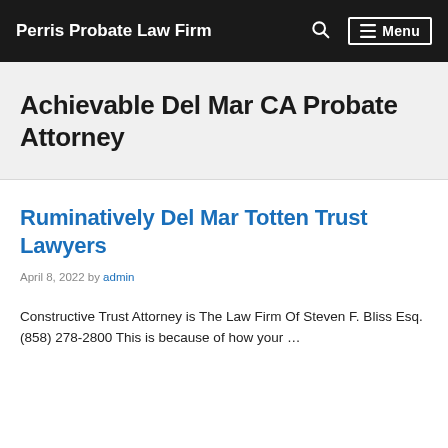Perris Probate Law Firm  Menu
Achievable Del Mar CA Probate Attorney
Ruminatively Del Mar Totten Trust Lawyers
April 8, 2022 by admin
Constructive Trust Attorney is The Law Firm Of Steven F. Bliss Esq. (858) 278-2800 This is because of how your ...